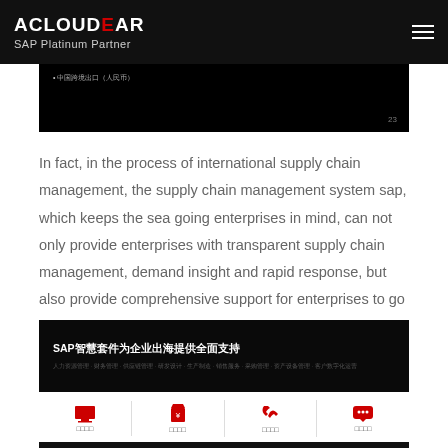ACLOUDEAR SAP Platinum Partner
[Figure (screenshot): Dark image strip with small Chinese text bullet and page number 23]
In fact, in the process of international supply chain management, the supply chain management system sap, which keeps the sea going enterprises in mind, can not only provide enterprises with transparent supply chain management, demand insight and rapid response, but also provide comprehensive support for enterprises to go to sea through intelligent suite.
[Figure (screenshot): Dark banner with Chinese text: SAP智慧套件为企业出海提供全面支持, with smaller Chinese text below]
[Figure (infographic): Four icon cells with red icons (monitor, price tag, phone, chat bubble) and Chinese labels below each]